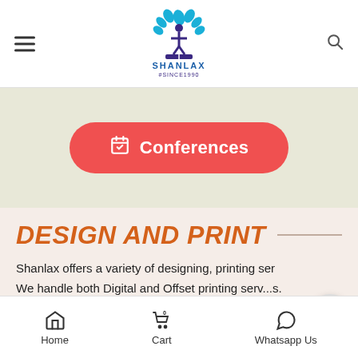[Figure (logo): Shanlax logo — a tree with leaves and a person figure, text SHANLAX #SINCE1990]
☰ (hamburger menu icon) and 🔍 (search icon) in header
Conferences (button)
DESIGN AND PRINT
Shanlax offers a variety of designing, printing ser... We handle both Digital and Offset printing serv...s.
Home | Cart 0 | Whatsapp Us (bottom navigation)